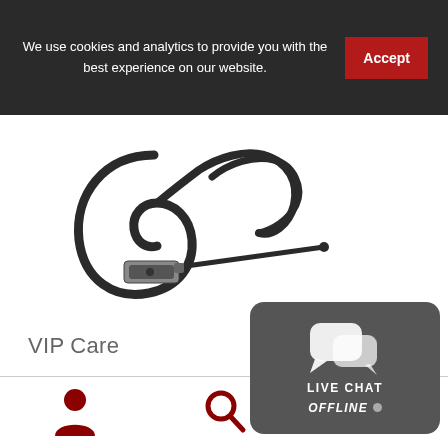We use cookies and analytics to provide you with the best experience on our website.
Accept
[Figure (photo): Black over-ear headset with microphone boom arm, ear hook style, no cable visible, product photo on white background]
VIP Care
[Figure (infographic): Live chat widget button with chat bubble icons, text 'LIVE CHAT OFFLINE' with grey dot, dark grey rounded rectangle background]
[Figure (illustration): Person/user icon in dark red color]
[Figure (illustration): Magnifying glass search icon in dark red color]